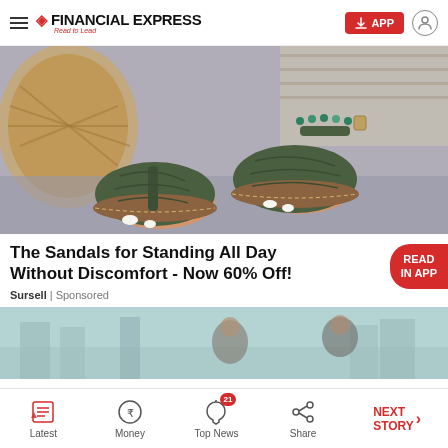FINANCIAL EXPRESS — Read to Lead
[Figure (photo): Close-up photo of feet wearing dark olive/green embossed thong sandals with ankle strap and beaded anklet, brown soles, placed on a gray surface next to a woven basket]
The Sandals for Standing All Day Without Discomfort - Now 60% Off!
Sursell | Sponsored
[Figure (photo): Partially visible blurred photo of people in an outdoor urban setting]
Latest | Money | Top News (21) | Share | NEXT STORY